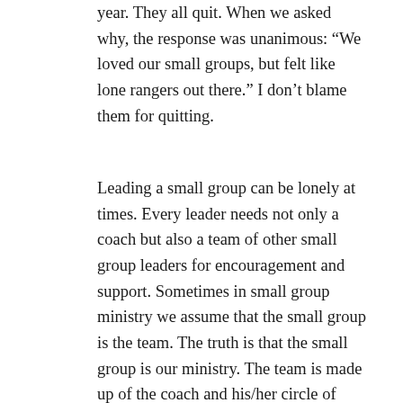year. They all quit. When we asked why, the response was unanimous: “We loved our small groups, but felt like lone rangers out there.” I don’t blame them for quitting.
Leading a small group can be lonely at times. Every leader needs not only a coach but also a team of other small group leaders for encouragement and support. Sometimes in small group ministry we assume that the small group is the team. The truth is that the small group is our ministry. The team is made up of the coach and his/her circle of leaders. Together we can be encouraged. Together we can learn from others’ experiences. Together we can grow as leaders.